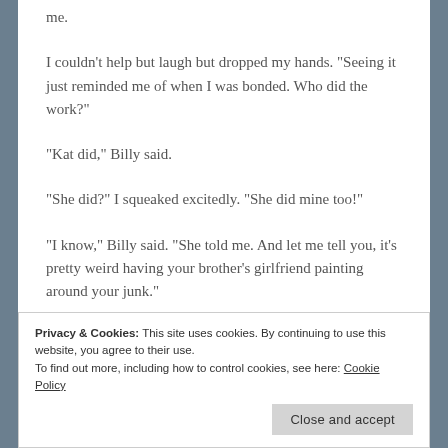me.
I couldn't help but laugh but dropped my hands.  "Seeing it just reminded me of when I was bonded.  Who did the work?"
"Kat did," Billy said.
"She did?" I squeaked excitedly.  "She did mine too!"
"I know," Billy said.  "She told me.  And let me tell you, it's pretty weird having your brother's girlfriend painting around your junk."
Privacy & Cookies: This site uses cookies. By continuing to use this website, you agree to their use.
To find out more, including how to control cookies, see here: Cookie Policy
"I think it's amazing!  Like things are going around fate